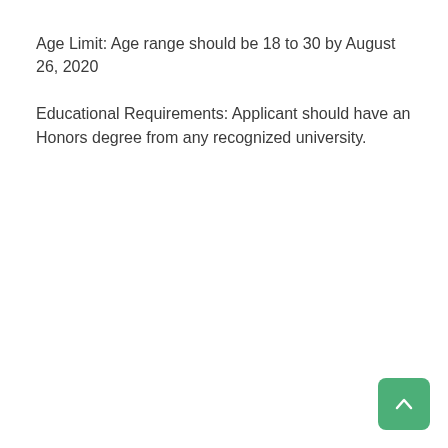Age Limit: Age range should be 18 to 30 by August 26, 2020
Educational Requirements: Applicant should have an Honors degree from any recognized university.